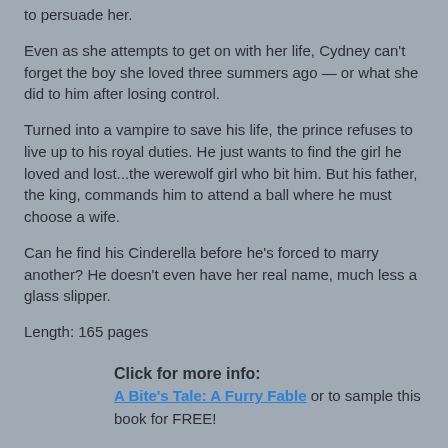to persuade her.
Even as she attempts to get on with her life, Cydney can't forget the boy she loved three summers ago — or what she did to him after losing control.
Turned into a vampire to save his life, the prince refuses to live up to his royal duties. He just wants to find the girl he loved and lost...the werewolf girl who bit him. But his father, the king, commands him to attend a ball where he must choose a wife.
Can he find his Cinderella before he's forced to marry another? He doesn't even have her real name, much less a glass slipper.
Length: 165 pages
Click for more info: A Bite's Tale: A Furry Fable or to sample this book for FREE!